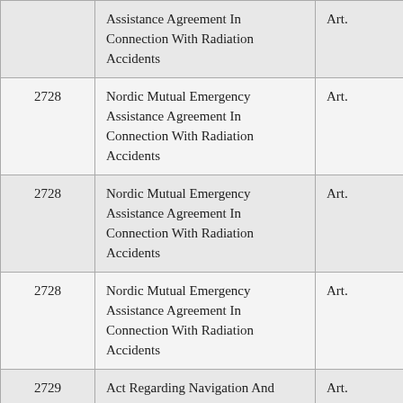| [number] | [title] | [article] |
| --- | --- | --- |
|  | Assistance Agreement In Connection With Radiation Accidents | Art. |
| 2728 | Nordic Mutual Emergency Assistance Agreement In Connection With Radiation Accidents | Art. |
| 2728 | Nordic Mutual Emergency Assistance Agreement In Connection With Radiation Accidents | Art. |
| 2728 | Nordic Mutual Emergency Assistance Agreement In Connection With Radiation Accidents | Art. |
| 2729 | Act Regarding Navigation And Economic Cooperation Between The States Of The Niger Basin | Art. |
| 2729 | Act Regarding Navigation And Economic Cooperation Between The States Of The Niger Basin | Art. |